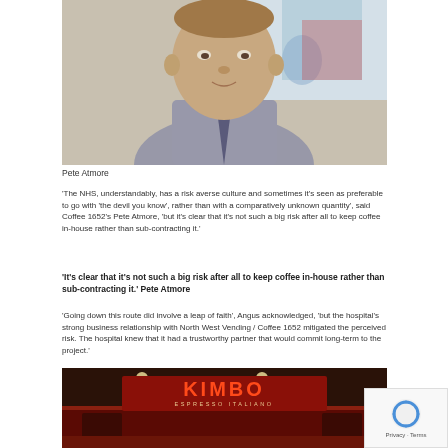[Figure (photo): Portrait photo of Pete Atmore, a middle-aged man in a checkered shirt and striped tie]
Pete Atmore
‘The NHS, understandably, has a risk averse culture and sometimes it’s seen as preferable to go with ‘the devil you know’, rather than with a comparatively unknown quantity’, said Coffee 1652’s Pete Atmore, ‘but it’s clear that it’s not such a big risk after all to keep coffee in-house rather than sub-contracting it.’
‘It’s clear that it’s not such a big risk after all to keep coffee in-house rather than sub-contracting it.’ Pete Atmore
‘Going down this route did involve a leap of faith’, Angus acknowledged, ‘but the hospital’s strong business relationship with North West Vending / Coffee 1652 mitigated the perceived risk. The hospital knew that it had a trustworthy partner that would commit long-term to the project.’
[Figure (photo): Photo of a KIMBO ESPRESSO ITALIANO coffee shop storefront with illuminated signage]